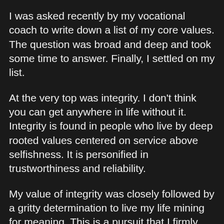I was asked recently by my vocational coach to write down a list of my core values. The question was broad and deep and took some time to answer. Finally, I settled on my list.
At the very top was integrity. I don't think you can get anywhere in life without it. Integrity is found in people who live by deep rooted values centered on service above selfishness. It is personified in trustworthiness and reliability.
My value of integrity was closely followed by a gritty determination to live my life mining for meaning. This is a pursuit that I firmly believe is found in the service of others. Servanthood is a forgotten virtue in our modern world but can be seen in the great stories of Mahatma Ghandi, Mother Theresa and our very own Dame Whina Cooper – people who grew to become